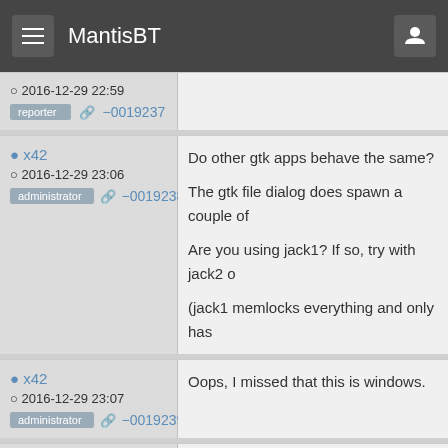MantisBT
2016-12-29 22:59 reporter −0019237
x42
2016-12-29 23:06
administrator −0019238

Do other gtk apps behave the same?

The gtk file dialog does spawn a couple of

Are you using jack1? If so, try with jack2 o

(jack1 memlocks everything and only has
x42
2016-12-29 23:07
administrator −0019239

Oops, I missed that this is windows.
kjetil
2016-12-29 23:13
reporter −0019240

I'm using jack2. I also tried to select porta